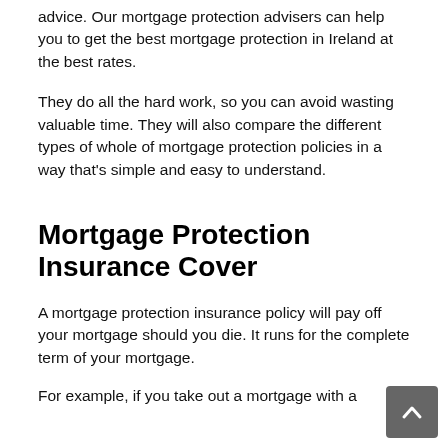advice. Our mortgage protection advisers can help you to get the best mortgage protection in Ireland at the best rates.
They do all the hard work, so you can avoid wasting valuable time. They will also compare the different types of whole of mortgage protection policies in a way that's simple and easy to understand.
Mortgage Protection Insurance Cover
A mortgage protection insurance policy will pay off your mortgage should you die. It runs for the complete term of your mortgage.
For example, if you take out a mortgage with a